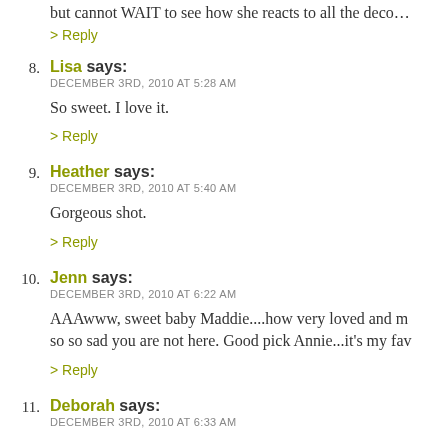but cannot WAIT to see how she reacts to all the deco…
> Reply
8. Lisa says:
DECEMBER 3RD, 2010 AT 5:28 AM
So sweet. I love it.
> Reply
9. Heather says:
DECEMBER 3RD, 2010 AT 5:40 AM
Gorgeous shot.
> Reply
10. Jenn says:
DECEMBER 3RD, 2010 AT 6:22 AM
AAAwww, sweet baby Maddie....how very loved and m… so so sad you are not here. Good pick Annie...it's my fav…
> Reply
11. Deborah says:
DECEMBER 3RD, 2010 AT 6:33 AM